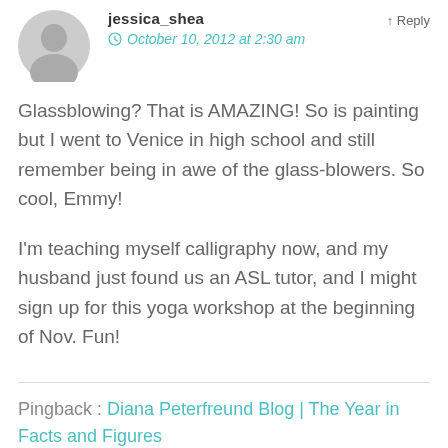[Figure (illustration): Generic user avatar silhouette icon, gray circle with person shape]
jessica_shea
Reply
October 10, 2012 at 2:30 am
Glassblowing? That is AMAZING! So is painting but I went to Venice in high school and still remember being in awe of the glass-blowers. So cool, Emmy!
I'm teaching myself calligraphy now, and my husband just found us an ASL tutor, and I might sign up for this yoga workshop at the beginning of Nov. Fun!
Pingback : Diana Peterfreund Blog | The Year in Facts and Figures